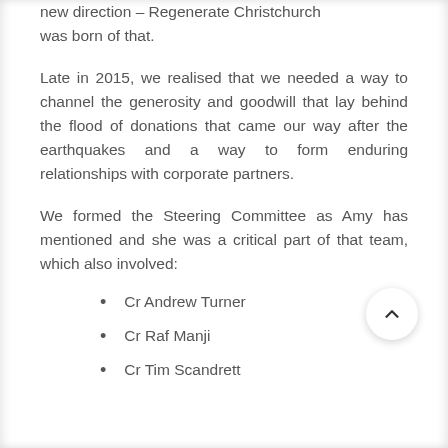new direction – Regenerate Christchurch was born of that.
Late in 2015, we realised that we needed a way to channel the generosity and goodwill that lay behind the flood of donations that came our way after the earthquakes and a way to form enduring relationships with corporate partners.
We formed the Steering Committee as Amy has mentioned and she was a critical part of that team, which also involved:
Cr Andrew Turner
Cr Raf Manji
Cr Tim Scandrett